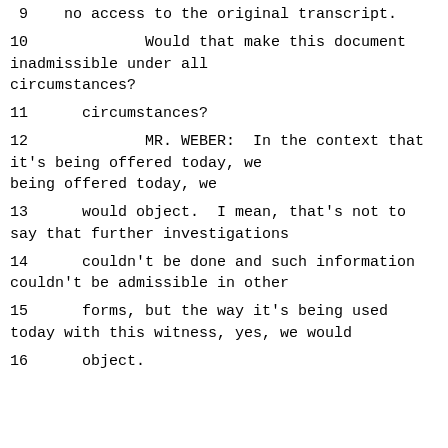9    no access to the original transcript.
10             Would that make this document inadmissible under all
11      circumstances?
12             MR. WEBER:  In the context that it's being offered today, we
13      would object.  I mean, that's not to say that further investigations
14      couldn't be done and such information couldn't be admissible in other
15      forms, but the way it's being used today with this witness, yes, we would
16      object.